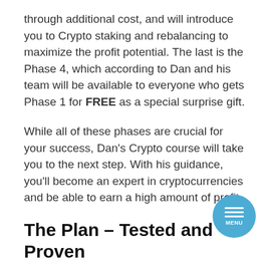through additional cost, and will introduce you to Crypto staking and rebalancing to maximize the profit potential. The last is the Phase 4, which according to Dan and his team will be available to everyone who gets Phase 1 for FREE as a special surprise gift.
While all of these phases are crucial for your success, Dan's Crypto course will take you to the next step. With his guidance, you'll become an expert in cryptocurrencies and be able to earn a high amount of profit.
The Plan – Tested and Proven
Dan Hollings' plan for cryptocurrency training was tested with 3 beta groups before launching the course to the general public. Since he couldn't reach everyone at once, he had to limit the number of students he could accept for The Plan. This ensured